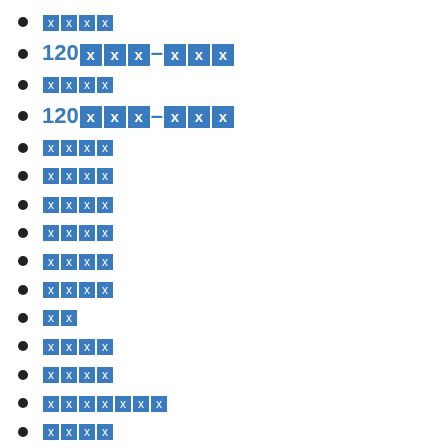□□□□
120□□□–□□□
□□□□
120□□□–□□□
□□□□
□□□□
□□□□
□□□□
□□□□
□□□□
□□
□□□□
□□□□
□□□□□□□
□□□□
□□Banner